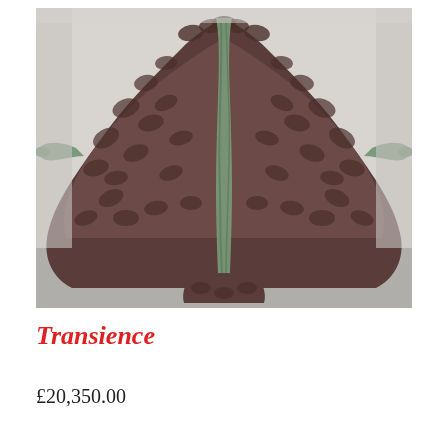[Figure (photo): A bronze sculpture of a figure with outstretched arms, the body and robe covered in leaf-like textured patterns. A tree trunk motif runs up the center of the figure. The sculpture is displayed against a light grey/white background on a grey floor.]
Transience
£20,350.00